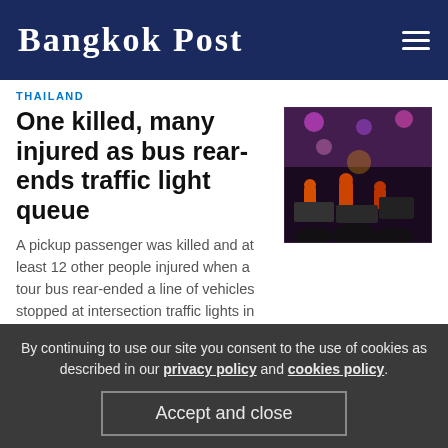Bangkok Post
THAILAND
One killed, many injured as bus rear-ends traffic light queue
A pickup passenger was killed and at least 12 other people injured when a tour bus rear-ended a line of vehicles stopped at intersection traffic lights in Phon district of Khon Kaen early on Thursday.
12:41
[Figure (photo): Emergency responders at night at the scene of a bus accident, people in orange vests working around damaged vehicles with colorful lights visible]
BUSINESS
[Figure (photo): Dark image with multiple bright circular stage lights visible against a dark background]
By continuing to use our site you consent to the use of cookies as described in our privacy policy and cookies policy.
Accept and close